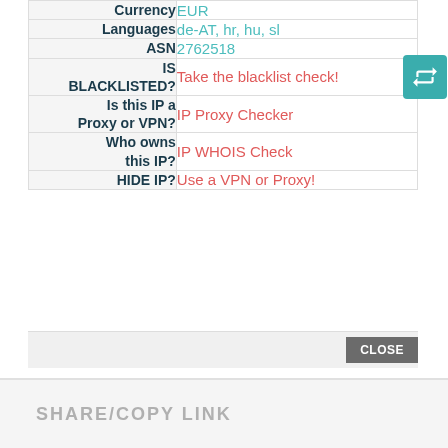| Field | Value |
| --- | --- |
| Currency | EUR |
| Languages | de-AT, hr, hu, sl |
| ASN | 2762518 |
| IS BLACKLISTED? | Take the blacklist check! |
| Is this IP a Proxy or VPN? | IP Proxy Checker |
| Who owns this IP? | IP WHOIS Check |
| HIDE IP? | Use a VPN or Proxy! |
CLOSE
SHARE/COPY LINK